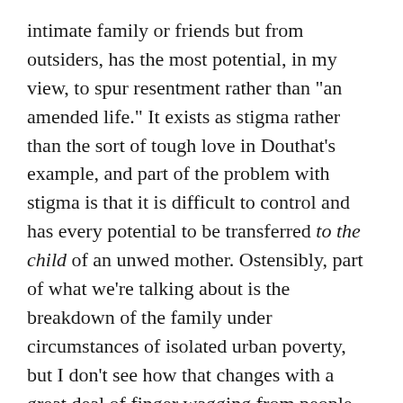intimate family or friends but from outsiders, has the most potential, in my view, to spur resentment rather than "an amended life." It exists as stigma rather than the sort of tough love in Douthat's example, and part of the problem with stigma is that it is difficult to control and has every potential to be transferred to the child of an unwed mother. Ostensibly, part of what we're talking about is the breakdown of the family under circumstances of isolated urban poverty, but I don't see how that changes with a great deal of finger wagging from people who live in what is essentially a different world. Not because those people don't necessarily mean well, but because the love that makes shame such a powerful deterrent within a family, or even a neighborhood, doesn't exist in that context. Moreover, as with any isolated space, people are